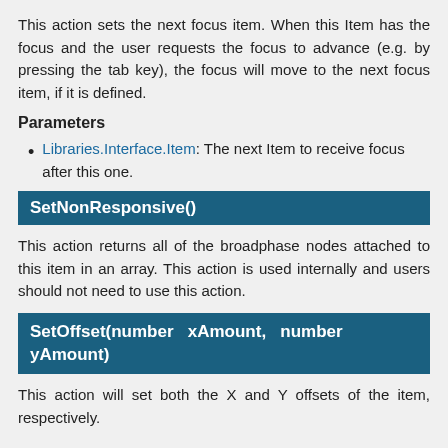This action sets the next focus item. When this Item has the focus and the user requests the focus to advance (e.g. by pressing the tab key), the focus will move to the next focus item, if it is defined.
Parameters
Libraries.Interface.Item: The next Item to receive focus after this one.
SetNonResponsive()
This action returns all of the broadphase nodes attached to this item in an array. This action is used internally and users should not need to use this action.
SetOffset(number xAmount, number yAmount)
This action will set both the X and Y offsets of the item, respectively.